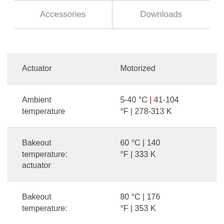| Accessories | Downloads |
| --- | --- |
| Property | Value |
| --- | --- |
| Actuator | Motorized |
| Ambient temperature | 5-40 °C | 41-104 °F | 278-313 K |
| Bakeout temperature: actuator | 60 °C | 140 °F | 333 K |
| Bakeout temperature: | 80 °C | 176 °F | 353 K |